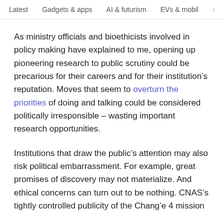Latest   Gadgets & apps   AI & futurism   EVs & mobil  >
As ministry officials and bioethicists involved in policy making have explained to me, opening up pioneering research to public scrutiny could be precarious for their careers and for their institution’s reputation. Moves that seem to overturn the priorities of doing and talking could be considered politically irresponsible – wasting important research opportunities.
Institutions that draw the public’s attention may also risk political embarrassment. For example, great promises of discovery may not materialize. And ethical concerns can turn out to be nothing. CNAS’s tightly controlled publicity of the Chang’e 4 mission